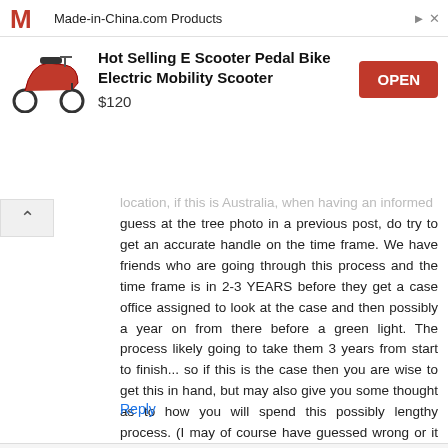[Figure (other): Advertisement banner for Made-in-China.com featuring a red electric scooter. Product: Hot Selling E Scooter Pedal Bike Electric Mobility Scooter. Price: $120. Button: OPEN]
...location, if this is Australia, when having an informed guess at the tree photo in a previous post, do try to get an accurate handle on the time frame. We have friends who are going through this process and the time frame is in 2-3 YEARS before they get a case office assigned to look at the case and then possibly a year on from there before a green light. The process likely going to take them 3 years from start to finish... so if this is the case then you are wise to get this in hand, but may also give you some thought as to how you will spend this possibly lengthy process. (I may of course have guessed wrong or it may be a different visa process (they have family there))...
Reply
Replies
RIT 11 January 2020 at 09:29
Thanks for sharing this Travice. You've just nicely...